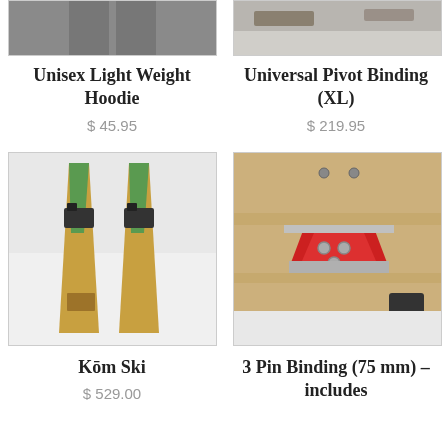[Figure (photo): Partial top view of Unisex Light Weight Hoodie, grey fabric, cropped]
[Figure (photo): Partial top view of Universal Pivot Binding (XL), cropped]
Unisex Light Weight Hoodie
$ 45.95
Universal Pivot Binding (XL)
$ 219.95
[Figure (photo): Kōm Ski product photo: skis with bindings in snow, green and tan design]
[Figure (photo): 3 Pin Binding (75 mm) product photo: red metal binding on brown board]
Kōm Ski
$ 529.00
3 Pin Binding (75 mm) – includes